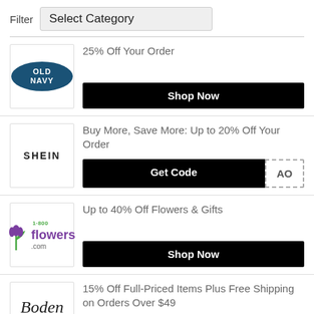Filter   Select Category
[Figure (logo): Old Navy logo — white text on dark blue oval]
25% Off Your Order
Shop Now
[Figure (logo): SHEIN text logo in black]
Buy More, Save More: Up to 20% Off Your Order
Get Code  AO
[Figure (logo): 1-800-Flowers.com logo with purple tulip and green stem]
Up to 40% Off Flowers & Gifts
Shop Now
[Figure (logo): Boden cursive/italic logo]
15% Off Full-Priced Items Plus Free Shipping on Orders Over $49